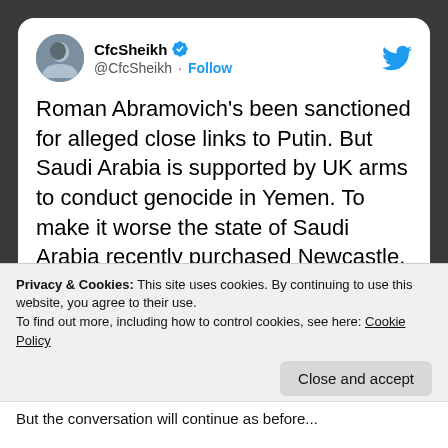[Figure (screenshot): Twitter/X profile header with avatar of CfcSheikh, verified badge, handle @CfcSheikh, Follow button, and Twitter bird logo]
Roman Abramovich's been sanctioned for alleged close links to Putin. But Saudi Arabia is supported by UK arms to conduct genocide in Yemen. To make it worse the state of Saudi Arabia recently purchased Newcastle. The hypocrisy of the UK government is unreal.
12:43 PM · Mar 10, 2022
Privacy & Cookies: This site uses cookies. By continuing to use this website, you agree to their use.
To find out more, including how to control cookies, see here: Cookie Policy
Close and accept
But the conversation will continue as before...